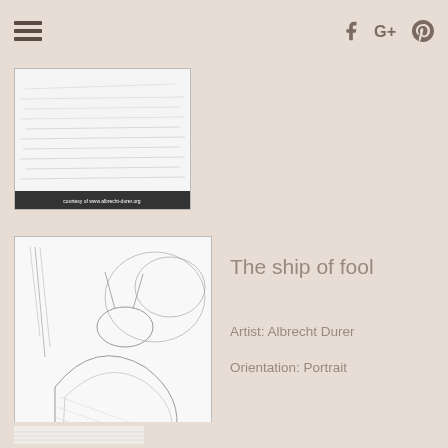Navigation header with hamburger menu and social icons (Facebook, Google+, Pinterest)
[Figure (illustration): Partially visible artwork image with caption 'courtesy of www.albrecht-durer.org' on dark bar]
The ship of fool
Artist: Albrecht Durer
Orientation: Portrait
[Figure (illustration): Black and white woodcut illustration by Albrecht Durer showing animals/figures in a landscape scene, with caption 'courtesy of www.albrecht-durer.org']
[Figure (illustration): Partially visible third card at bottom of page]